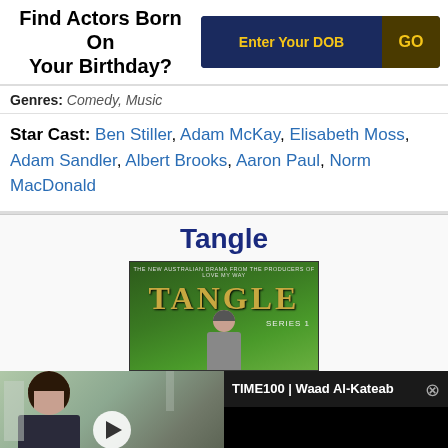Find Actors Born On Your Birthday?
Genres: Comedy, Music
Star Cast: Ben Stiller, Adam McKay, Elisabeth Moss, Adam Sandler, Albert Brooks, Aaron Paul, Norm MacDonald
Tangle
[Figure (photo): Tangle TV series poster - Australian drama, featuring green leafy background with golden TANGLE text and Series 1 label]
[Figure (screenshot): Video thumbnail showing a woman with dark hair, with play button overlay. Video title: TIME100 | Waad Al-Kateab with close button]